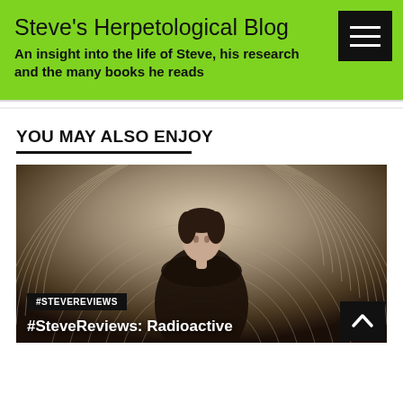Steve's Herpetological Blog
An insight into the life of Steve, his research and the many books he reads
YOU MAY ALSO ENJOY
[Figure (photo): A woman in Victorian-era clothing standing in front of a radial/circular architectural background. Dark clothing, serious expression. Blog post preview image for #SteveReviews: Radioactive.]
#SteveReviews: Radioactive